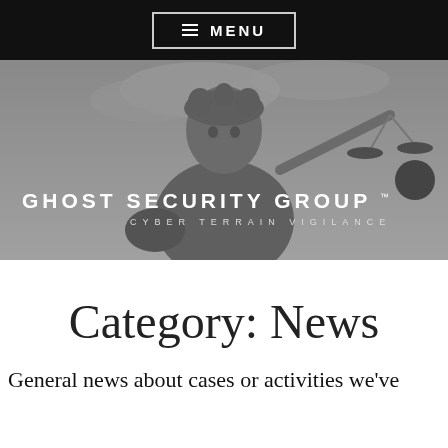≡ MENU
[Figure (photo): Black and white photo of a Lady Justice statue holding scales, with Ghost Security Group™ logo overlay and tagline 'CYBER TERRAIN VIGILANCE']
Category: News
General news about cases or activities we've